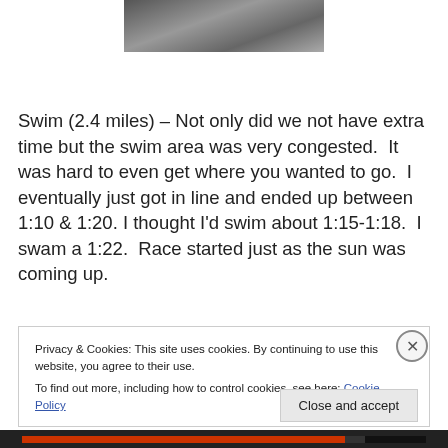[Figure (photo): Black and white photo cropped at top of page]
Swim (2.4 miles) – Not only did we not have extra time but the swim area was very congested.  It was hard to even get where you wanted to go.  I eventually just got in line and ended up between 1:10 & 1:20. I thought I'd swim about 1:15-1:18.  I swam a 1:22.  Race started just as the sun was coming up.
Privacy & Cookies: This site uses cookies. By continuing to use this website, you agree to their use.
To find out more, including how to control cookies, see here: Cookie Policy
Close and accept